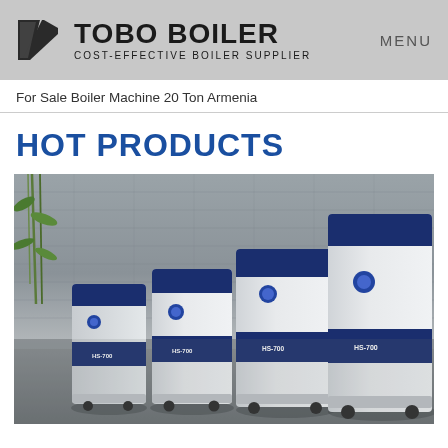TOBO BOILER - COST-EFFECTIVE BOILER SUPPLIER | MENU
For Sale Boiler Machine 20 Ton Armenia
HOT PRODUCTS
[Figure (photo): Four navy blue and white industrial boiler units of increasing size arranged in a row on a grey floor against a stone wall background. Units labeled HS-700, HS-700, HS-700, HS-700 with blue circular control panels.]